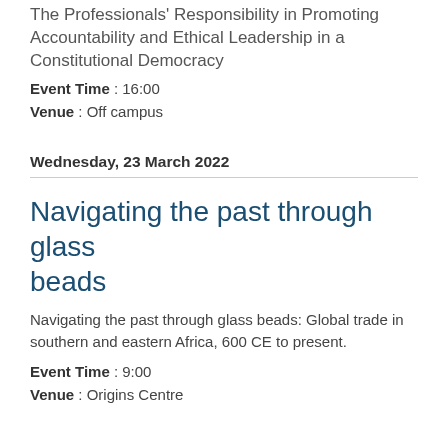The Professionals' Responsibility in Promoting Accountability and Ethical Leadership in a Constitutional Democracy
Event Time : 16:00
Venue : Off campus
Wednesday, 23 March 2022
Navigating the past through glass beads
Navigating the past through glass beads: Global trade in southern and eastern Africa, 600 CE to present.
Event Time : 9:00
Venue : Origins Centre